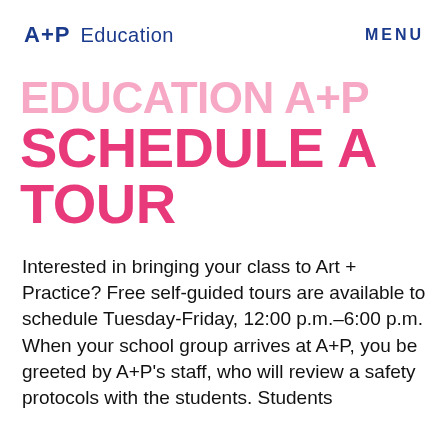A+P  Education   MENU
EDUCATION A+P SCHEDULE A TOUR
Interested in bringing your class to Art + Practice? Free self-guided tours are available to schedule Tuesday-Friday, 12:00 p.m.–6:00 p.m. When your school group arrives at A+P, you will be greeted by A+P's staff, who will review safety protocols with the students. Students